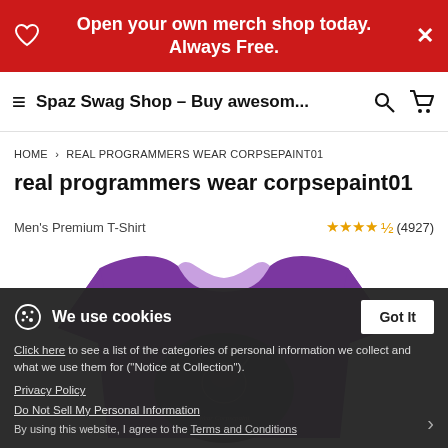Open your own merch shop today. Always Free.
Spaz Swag Shop – Buy awesom...
HOME > REAL PROGRAMMERS WEAR CORPSEPAINT01
real programmers wear corpsepaint01
Men's Premium T-Shirt  ★★★★½ (4927)
[Figure (photo): Purple men's t-shirt with a dark gothic 'Real Programmers Wear Corpsepaint' circular graphic on the front, featuring a goat skull motif]
We use cookies
Click here to see a list of the categories of personal information we collect and what we use them for ("Notice at Collection").
Privacy Policy
Do Not Sell My Personal Information
By using this website, I agree to the Terms and Conditions